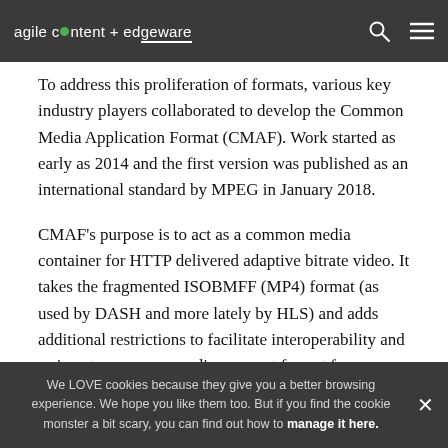agile content + edgeware
To address this proliferation of formats, various key industry players collaborated to develop the Common Media Application Format (CMAF). Work started as early as 2014 and the first version was published as an international standard by MPEG in January 2018.
CMAF's purpose is to act as a common media container for HTTP delivered adaptive bitrate video. It takes the fragmented ISOBMFF (MP4) format (as used by DASH and more lately by HLS) and adds additional restrictions to facilitate interoperability and arrive at a common media segment format for streaming for both HLS and DASH protocols. This should have quickly addressed the unnecessary proliferation of storage and processing that has characterized more streaming solutions to date...
We LOVE cookies because they give you a better browsing experience. We hope you like them too. But if you find the cookie monster a bit scary, you can find out how to manage it here.